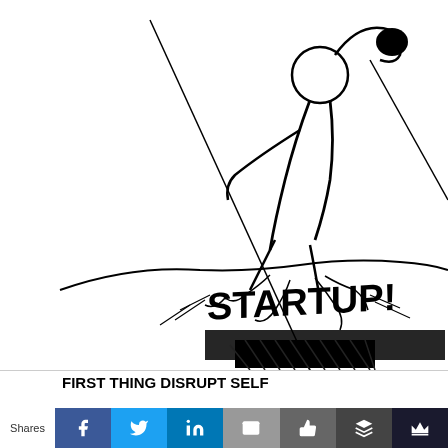[Figure (illustration): Black and white sketch illustration of a figure breaking through a surface with the word 'STARTUP!' bursting out from the ground, dynamic action pose with raised fist]
FIRST THING DISRUPT SELF
Shares